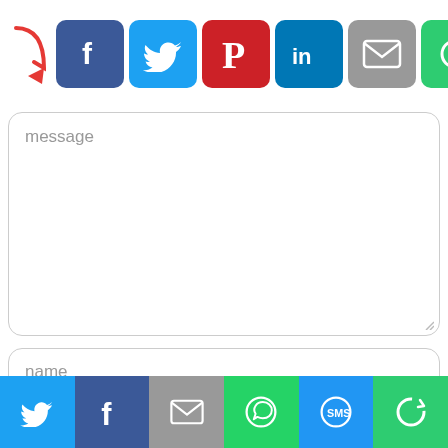[Figure (screenshot): Social share buttons row: red arrow pointing right, then Facebook (blue), Twitter (cyan), Pinterest (red), LinkedIn (blue), Email (grey), and a green circular arrow button]
message
name
e-mail
[Figure (screenshot): Bottom share bar with Twitter (light blue), Facebook (dark blue), Email (grey), WhatsApp (green), SMS (blue), and circular arrow (green) buttons]